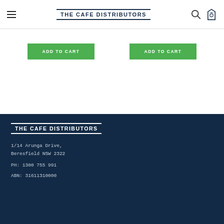THE CAFE DISTRIBUTORS
ADD TO CART
ADD TO CART
[Figure (logo): The Cafe Distributors logo in footer]
1/14 Arunga Drive,
Beresfield NSW 2322
PH: 1300 755 991
ABN: 31611310000
1/14 Arunga Drive, Beresfield NSW 2322 | PH: 1300 755 991 | ABN: 31611310000